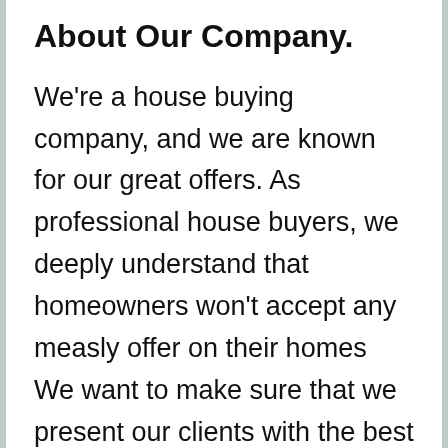About Our Company.
We're a house buying company, and we are known for our great offers. As professional house buyers, we deeply understand that homeowners won't accept any measly offer on their homes We want to make sure that we present our clients with the best possible offer, to ensure that they are happy. Our offers are made with an analysis that will keep our